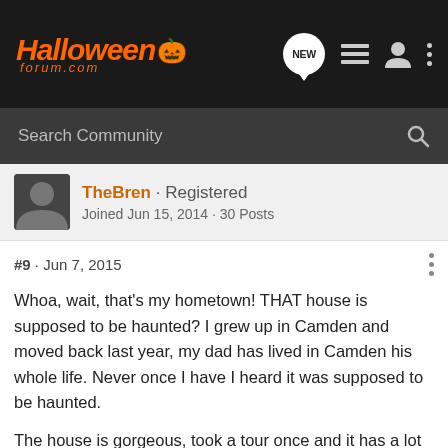[Figure (screenshot): HalloweenForum.com site header with orange logo, navigation icons including NEW bubble, list icon, user icon, and more options icon on dark background]
[Figure (screenshot): Dark grey search bar with 'Search Community' placeholder text and magnifying glass icon]
TheBren · Registered
Joined Jun 15, 2014 · 30 Posts
#9 · Jun 7, 2015
Whoa, wait, that's my hometown! THAT house is supposed to be haunted? I grew up in Camden and moved back last year, my dad has lived in Camden his whole life. Never once I have I heard it was supposed to be haunted.
The house is gorgeous, took a tour once and it has a lot of beautiful carvings and stained glass, but it's been abandoned and decaying for a long time and looks like it needs a ton of structural work. It looks like it's about to fall down on the outside, peeling parl, the roof is leaky, sagging, it's not worth the money since it will require a ton of fixing up.